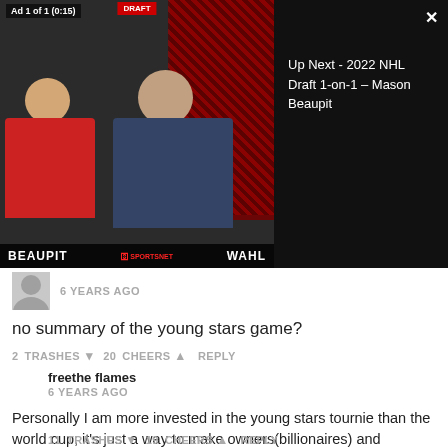[Figure (screenshot): Video player showing two people — BEAUPIT and WAHL — from the 2022 NHL Draft 1-on-1 interview, with 'Up Next' panel showing title 'Up Next - 2022 NHL Draft 1-on-1 - Mason Beaupit']
6 YEARS AGO
no summary of the young stars game?
2 TRASHES  20 CHEERS  REPLY
freethe flames
6 YEARS AGO
Personally I am more invested in the young stars tournie than the world cup; it's just a way to make owners(billionaires) and players(millionaires) more money. When I hear the slogan "Once and for all who owns this game" I just shake my head.
11 TRASHES  19 CHEERS  REPLY